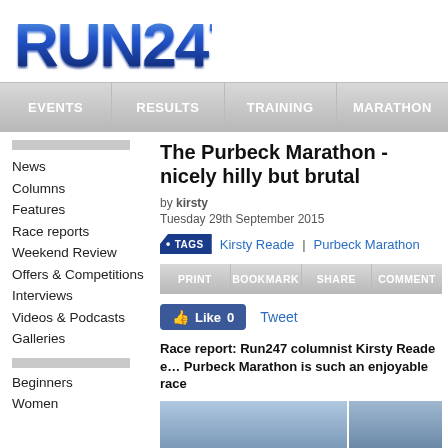[Figure (logo): RUN247 logo in bold blue gradient text]
EVENTS | RESULTS | TRAINING | MARATHON
The Purbeck Marathon - nicely hilly but brutal
by kirsty
Tuesday 29th September 2015
TAGS  Kirsty Reade | Purbeck Marathon
PRINT | BOOKMARK | SHARE | COMMENT
Like 0  Tweet
Race report: Run247 columnist Kirsty Reade explains why the Purbeck Marathon is such an enjoyable race
News
Columns
Features
Race reports
Weekend Review
Offers & Competitions
Interviews
Videos & Podcasts
Galleries
Beginners
Women
[Figure (photo): Article image showing outdoor/racing scene]